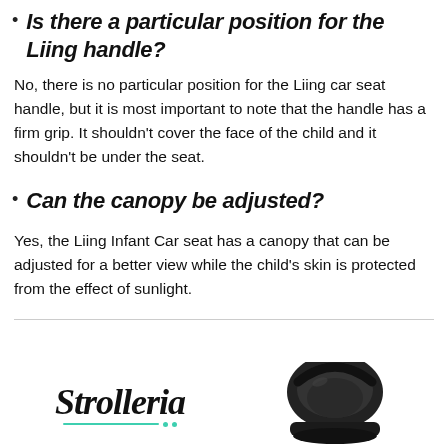Is there a particular position for the Liing handle?
No, there is no particular position for the Liing car seat handle, but it is most important to note that the handle has a firm grip. It shouldn't cover the face of the child and it shouldn't be under the seat.
Can the canopy be adjusted?
Yes, the Liing Infant Car seat has a canopy that can be adjusted for a better view while the child's skin is protected from the effect of sunlight.
[Figure (logo): Strolleria logo with teal underline and dots, and a car seat image on the right]